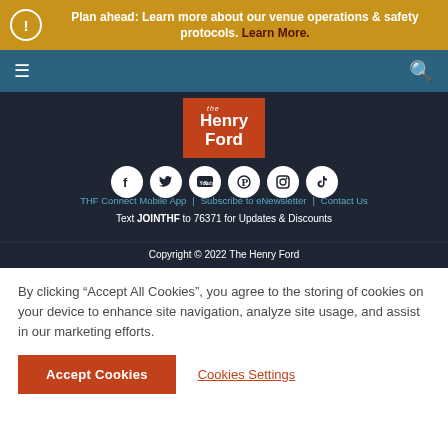Plan ahead: Learn more about our venue operations & safety protocols. Learn More.
[Figure (logo): The Henry Ford museum logo - white text on orange/red background]
[Figure (infographic): Social media icons row: Facebook, Twitter, YouTube, Pinterest, Instagram, TikTok]
THF Connect Mobile App | Subscribe to eNewsletter | Contact Us
Text JOINTHF to 76371 for Updates & Discounts
Copyright © 2022 The Henry Ford
By clicking "Accept All Cookies", you agree to the storing of cookies on your device to enhance site navigation, analyze site usage, and assist in our marketing efforts.
Accept Cookies
Cookies Settings